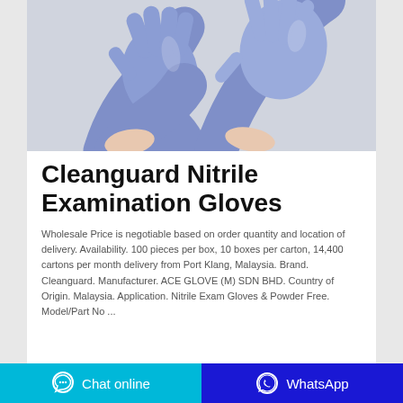[Figure (photo): Two hands wearing blue/purple nitrile examination gloves against a light gray background]
Cleanguard Nitrile Examination Gloves
Wholesale Price is negotiable based on order quantity and location of delivery. Availability. 100 pieces per box, 10 boxes per carton, 14,400 cartons per month delivery from Port Klang, Malaysia. Brand. Cleanguard. Manufacturer. ACE GLOVE (M) SDN BHD. Country of Origin. Malaysia. Application. Nitrile Exam Gloves & Powder Free. Model/Part No ...
Chat online   WhatsApp